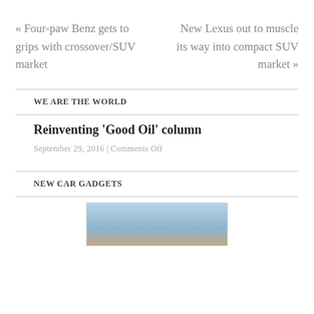« Four-paw Benz gets to grips with crossover/SUV market
New Lexus out to muscle its way into compact SUV market »
WE ARE THE WORLD
Reinventing ‘Good Oil’ column
September 29, 2016 | Comments Off
NEW CAR GADGETS
[Figure (photo): Partial view of a car, likely a sedan or SUV, shown from front/side angle against a sky background]